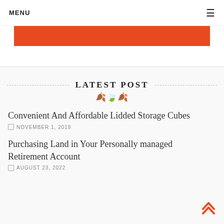MENU
[Figure (other): Orange banner/button element]
LATEST POST
Convenient And Affordable Lidded Storage Cubes
NOVEMBER 1, 2019
Purchasing Land in Your Personally managed Retirement Account
AUGUST 23, 2022